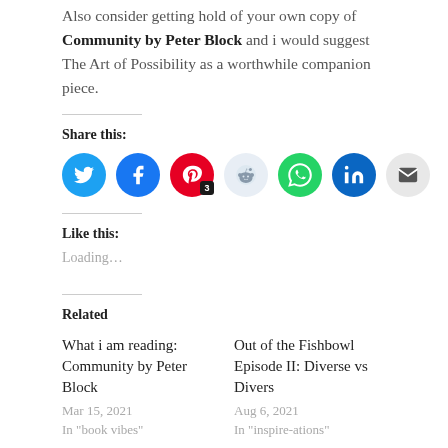Also consider getting hold of your own copy of Community by Peter Block and i would suggest The Art of Possibility as a worthwhile companion piece.
Share this:
[Figure (infographic): Social share buttons: Twitter (blue circle), Facebook (blue circle), Pinterest (red circle with badge '3'), Reddit (light blue circle), WhatsApp (green circle), LinkedIn (dark blue circle), Email (grey circle)]
Like this:
Loading...
Related
What i am reading: Community by Peter Block
Mar 15, 2021
In "book vibes"
Out of the Fishbowl Episode II: Diverse vs Divers
Aug 6, 2021
In "inspire-ations"